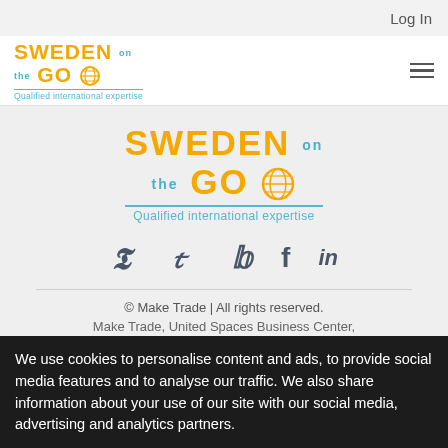Log In
[Figure (logo): Sweden on the Go logo with tagline 'Qualified international expertise' - header version]
[Figure (logo): Sweden on the Go logo with tagline 'Qualified international expertise' - centered large version]
[Figure (infographic): Social media icons: Twitter bird, Facebook f, LinkedIn in]
© Make Trade | All rights reserved.
Make Trade, United Spaces Business Center,
We use cookies to personalise content and ads, to provide social media features and to analyse our traffic. We also share information about your use of our site with our social media, advertising and analytics partners.